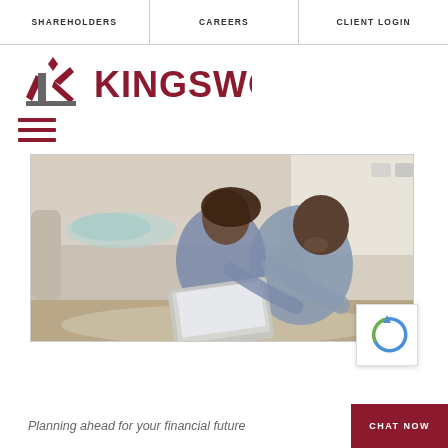SHAREHOLDERS | CAREERS | CLIENT LOGIN
[Figure (logo): Kingswood logo with stylized K icon in dark red and grey, with KINGSWOOD text in dark red]
[Figure (other): Hamburger menu icon with three dark red horizontal lines]
[Figure (photo): A smiling couple sitting on the floor in front of a sofa, looking at a laptop computer together]
Planning ahead for your financial future
CHAT NOW